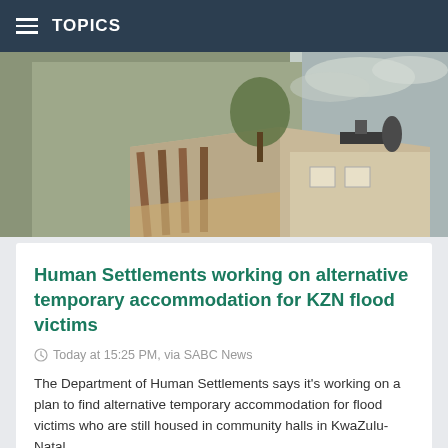TOPICS
[Figure (photo): Flood-damaged residential building with exposed roof structure, solar geyser on roof, under cloudy sky]
Human Settlements working on alternative temporary accommodation for KZN flood victims
Today at 15:25 PM, via SABC News
The Department of Human Settlements says it's working on a plan to find alternative temporary accommodation for flood victims who are still housed in community halls in KwaZulu-Natal.